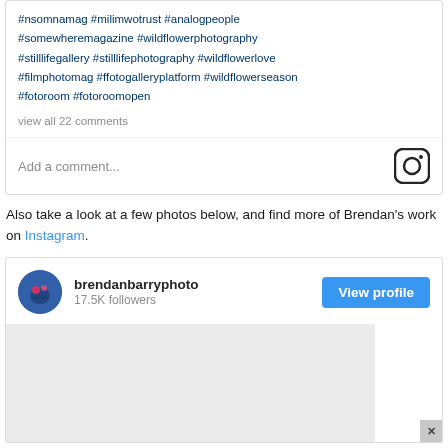#nsomnamag #milimwotrust #analogpeople #somewheremagazine #wildflowerphotography #stilllifegallery #stilllifephotography #wildflowerlove #filmphotomag #ffotogalleryplatform #wildflowerseason #fotoroom #fotoroomopen
view all 22 comments
Add a comment...
Also take a look at a few photos below, and find more of Brendan's work on Instagram.
brendanbarryphoto
17.5K followers
[Figure (screenshot): Instagram profile embed showing brendanbarryphoto with 17.5K followers, a View profile button, and a grey photo preview area below]